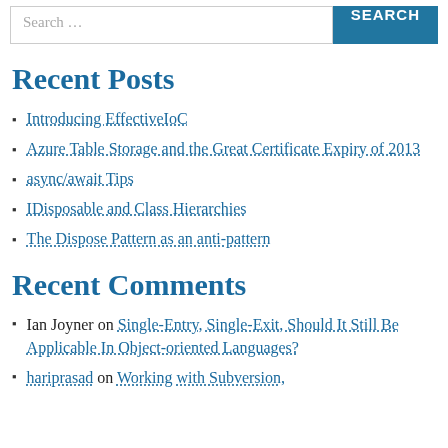Search ...  SEARCH
Recent Posts
Introducing EffectiveIoC
Azure Table Storage and the Great Certificate Expiry of 2013
async/await Tips
IDisposable and Class Hierarchies
The Dispose Pattern as an anti-pattern
Recent Comments
Ian Joyner on Single-Entry, Single-Exit, Should It Still Be Applicable In Object-oriented Languages?
hariprasad on Working with Subversion,